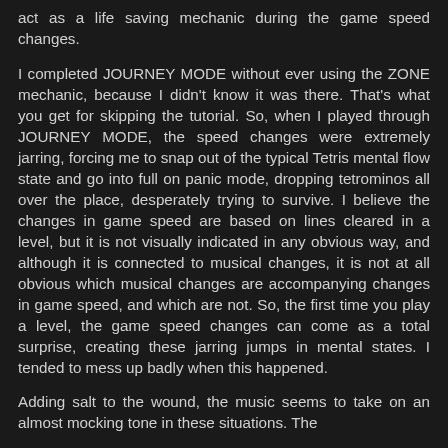act as a life saving mechanic during the game speed changes.
I completed JOURNEY MODE without ever using the ZONE mechanic, because I didn't know it was there. That's what you get for skipping the tutorial. So, when I played through JOURNEY MODE, the speed changes were extremely jarring, forcing me to snap out of the typical Tetris mental flow state and go into full on panic mode, dropping tetrominos all over the place, desperately trying to survive. I believe the changes in game speed are based on lines cleared in a level, but it is not visually indicated in any obvious way, and although it is connected to musical changes, it is not at all obvious which musical changes are accompanying changes in game speed, and which are not. So, the first time you play a level, the game speed changes can come as a total surprise, creating these jarring jumps in mental states. I tended to mess up badly when this happened.
Adding salt to the wound, the music seems to take on an almost mocking tone in these situations. The